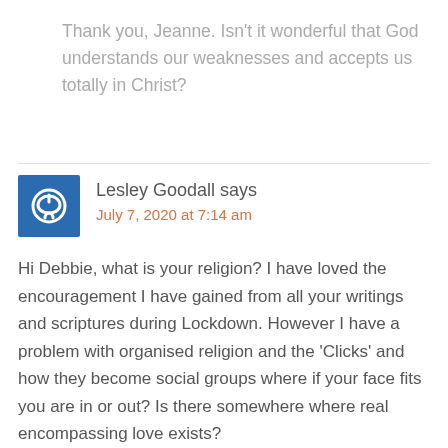Thank you, Jeanne. Isn't it wonderful that God understands our weaknesses and accepts us totally in Christ?
Lesley Goodall says
July 7, 2020 at 7:14 am
Hi Debbie, what is your religion? I have loved the encouragement I have gained from all your writings and scriptures during Lockdown. However I have a problem with organised religion and the 'Clicks' and how they become social groups where if your face fits you are in or out? Is there somewhere where real encompassing love exists?